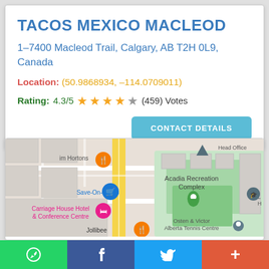TACOS MEXICO MACLEOD
1–7400 Macleod Trail, Calgary, AB T2H 0L9, Canada
Location: (50.9868934, –114.0709011)
Rating: 4.3/5 ★★★★☆ (459) Votes
[Figure (map): Google Maps view showing the area around 7400 Macleod Trail, Calgary, with markers for Tim Hortons, Save-On-Foods, Carriage House Hotel & Conference Centre, Jollibee, Acadia Recreation Complex, Osten & Victor Alberta Tennis Centre, and Head Office.]
WhatsApp | Facebook | Twitter | More